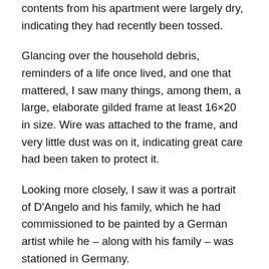contents from his apartment were largely dry, indicating they had recently been tossed.
Glancing over the household debris, reminders of a life once lived, and one that mattered, I saw many things, among them, a large, elaborate gilded frame at least 16×20 in size. Wire was attached to the frame, and very little dust was on it, indicating great care had been taken to protect it.
Looking more closely, I saw it was a portrait of D'Angelo and his family, which he had commissioned to be painted by a German artist while he – along with his family – was stationed in Germany.
Instinctively, I reached in and rescued the beautiful painting from certain destruction and was aghast that it had been thrown away, considered as so much refuse